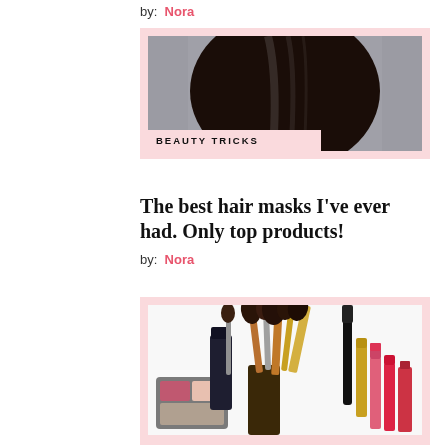by: Nora
[Figure (photo): Woman with long straight dark hair viewed from behind, beauty/hair product editorial photo, with pink border and 'BEAUTY TRICKS' label overlay]
The best hair masks I've ever had. Only top products!
by: Nora
[Figure (photo): Assorted makeup products including brushes, lipsticks, mascara, and a palette arranged on white background, with pink border]